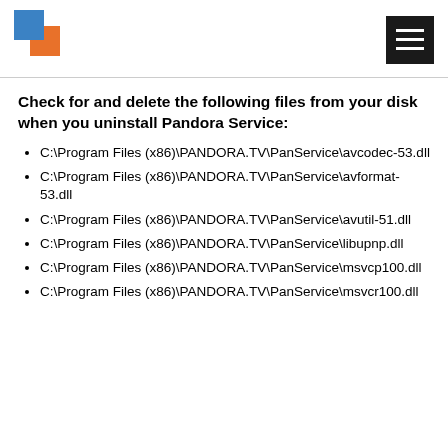[Figure (logo): Software or app logo with blue and orange square puzzle-piece shapes]
Check for and delete the following files from your disk when you uninstall Pandora Service:
C:\Program Files (x86)\PANDORA.TV\PanService\avcodec-53.dll
C:\Program Files (x86)\PANDORA.TV\PanService\avformat-53.dll
C:\Program Files (x86)\PANDORA.TV\PanService\avutil-51.dll
C:\Program Files (x86)\PANDORA.TV\PanService\libupnp.dll
C:\Program Files (x86)\PANDORA.TV\PanService\msvcp100.dll
C:\Program Files (x86)\PANDORA.TV\PanService\msvcr100.dll